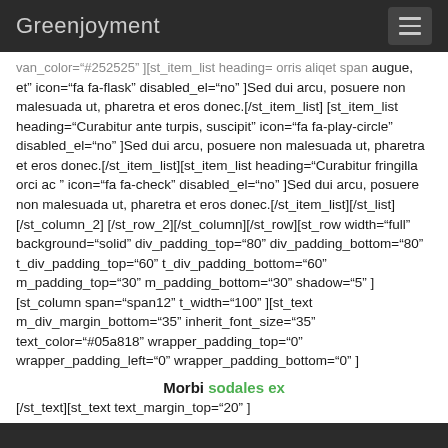Greenjoyment
van_color="#252525" ][st_item_list heading= orris aliqet span augue, et" icon="fa fa-flask" disabled_el="no" ]Sed dui arcu, posuere non malesuada ut, pharetra et eros donec.[/st_item_list] [st_item_list heading="Curabitur ante turpis, suscipit" icon="fa fa-play-circle" disabled_el="no" ]Sed dui arcu, posuere non malesuada ut, pharetra et eros donec.[/st_item_list][st_item_list heading="Curabitur fringilla orci ac " icon="fa fa-check" disabled_el="no" ]Sed dui arcu, posuere non malesuada ut, pharetra et eros donec.[/st_item_list][/st_list][/st_column_2] [/st_row_2][/st_column][/st_row][st_row width="full" background="solid" div_padding_top="80" div_padding_bottom="80" t_div_padding_top="60" t_div_padding_bottom="60" m_padding_top="30" m_padding_bottom="30" shadow="5" ][st_column span="span12" t_width="100" ][st_text m_div_margin_bottom="35" inherit_font_size="35" text_color="#05a818" wrapper_padding_top="0" wrapper_padding_left="0" wrapper_padding_bottom="0" ]
Morbi sodales ex
[/st_text][st_text text_margin_top="20" ]